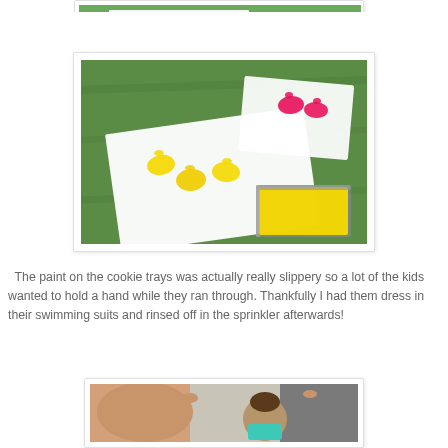[Figure (photo): Partial top photo, cut off at top of page, showing white paper sheets on grass with paint footprints]
[Figure (photo): Outdoor photo on green grass showing white paper sheets with yellow and pink paint footprints, and a baking tray filled with yellow paint]
The paint on the cookie trays was actually really slippery so a lot of the kids wanted to hold a hand while they ran through. Thankfully I had them dress in their swimming suits and rinsed off in the sprinkler afterwards!
[Figure (photo): Outdoor photo of two children being held by adults' hands, a shirtless boy on the left and a girl in a teal swimsuit on the right, in front of a gray structure]